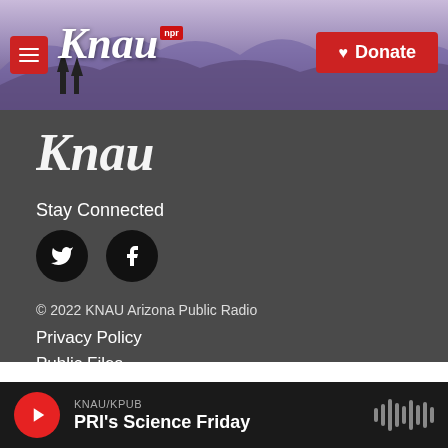[Figure (screenshot): KNAU NPR public radio website header with purple mountain background, hamburger menu button, KNAU logo in white italic text with NPR badge, and red Donate button]
[Figure (logo): KNAU logo in large white italic text on dark gray footer background]
Stay Connected
[Figure (other): Twitter bird icon in black circle and Facebook f icon in black circle social media buttons]
© 2022 KNAU Arizona Public Radio
Privacy Policy
Public Files
KNAU/KPUB
PRI's Science Friday